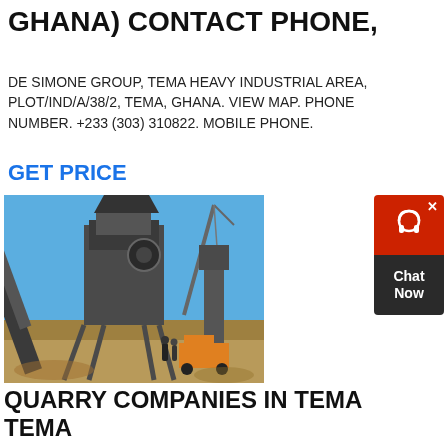GHANA) CONTACT PHONE,
DE SIMONE GROUP, TEMA HEAVY INDUSTRIAL AREA, PLOT/IND/A/38/2, TEMA, GHANA. VIEW MAP. PHONE NUMBER. +233 (303) 310822. MOBILE PHONE.
GET PRICE
[Figure (photo): Industrial quarry crushing and screening plant machinery with blue sky background, workers visible near equipment]
[Figure (infographic): Red and dark grey chat widget with headset icon and 'Chat Now' text]
QUARRY COMPANIES IN TEMA TEMA
QUARRY COMPANIES IN TEMA TEMA GRINDING MILL CHINA. QUARRY COMPANIES IN TEMA TEMA [ 4.7 4479